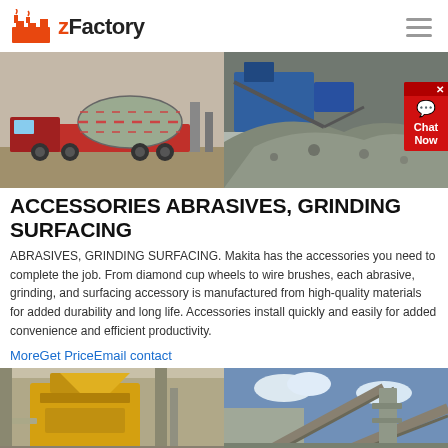zFactory
[Figure (photo): Two industrial photos side by side: left shows a large cylindrical drum/ball mill on a red transport truck; right shows a mining crushing site with piles of aggregate material and blue machinery]
ACCESSORIES ABRASIVES, GRINDING SURFACING
ABRASIVES, GRINDING SURFACING. Makita has the accessories you need to complete the job. From diamond cup wheels to wire brushes, each abrasive, grinding, and surfacing accessory is manufactured from high-quality materials for added durability and long life. Accessories install quickly and easily for added convenience and efficient productivity.
MoreGet PriceEmail contact
[Figure (photo): Two industrial photos side by side: left shows a yellow jaw crusher at a processing facility; right shows a conveyor belt system at an industrial plant under blue sky]